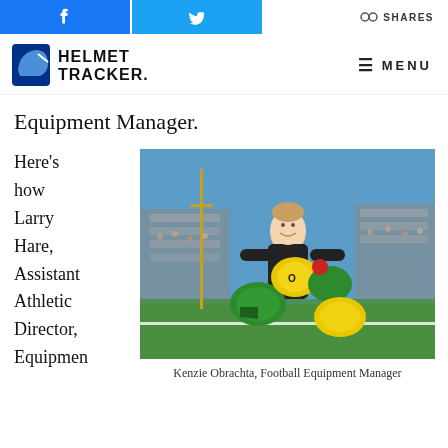SHARES
[Figure (logo): Helmet Tracker logo with helmet icon and bold text]
≡ MENU
Equipment Manager.
Here's how Larry Hare, Assistant Athletic Director, Equipment Manager.
[Figure (photo): Kenzie Obrachta, Football Equipment Manager, smiling on football field holding multiple green and yellow helmets, stadium crowd in background]
Kenzie Obrachta, Football Equipment Manager